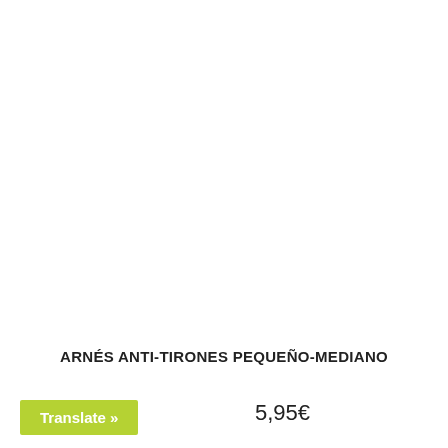[Figure (photo): Product image area — white/blank space for product photo of anti-pull harness (arnés anti-tirones)]
ARNÉS ANTI-TIRONES PEQUEÑO-MEDIANO
Translate »
5,95€